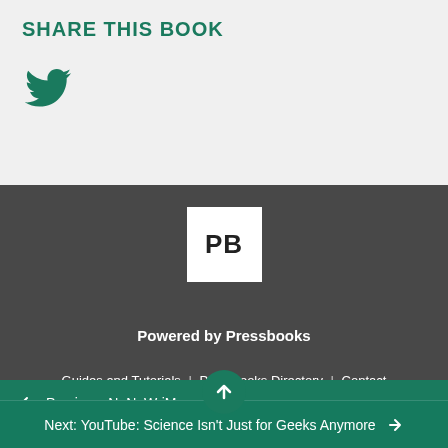SHARE THIS BOOK
[Figure (logo): Twitter bird icon in teal/dark green color]
[Figure (logo): Pressbooks logo: white square with bold letters PB on dark gray background]
Powered by Pressbooks
Guides and Tutorials | Pressbooks Directory | Contact
← Previous: NaNoWriMo
Next: YouTube: Science Isn't Just for Geeks Anymore →